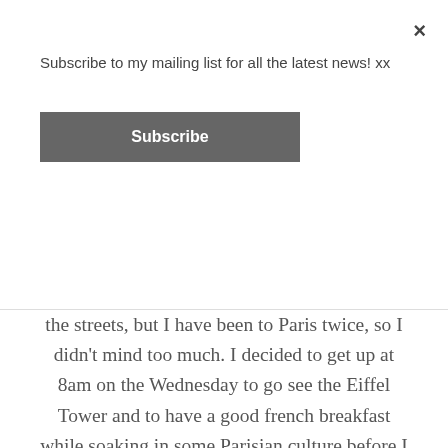Subscribe to my mailing list for all the latest news! xx
Subscribe
×
the streets, but I have been to Paris twice, so I didn't mind too much. I decided to get up at 8am on the Wednesday to go see the Eiffel Tower and to have a good french breakfast while soaking in some Parisian culture before I had to work for the rest of the day. It was great to just sit in the centre and people-watch for a while and even though I couldn't get into holiday mode, just relaxing with a cappuccino and taking it all in was a fantastic way to chill for an hour!